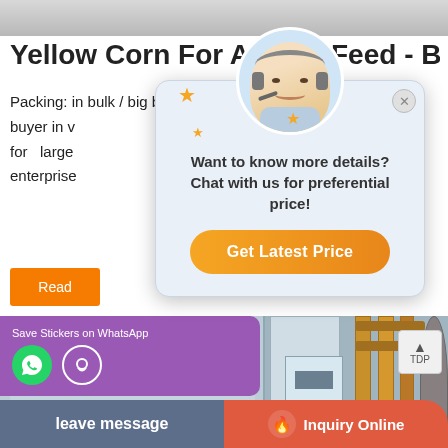[Figure (screenshot): Top image strip (product image banner background)]
Yellow Corn For Animal Feed - Buy Yello...
Packing: in bulk / big bags   ucts can be offered to the buyer in v   gs (1 ton) - for large   nd utility enterprise   Lead Time
Read
[Figure (photo): Industrial machinery photo with gray panels and orange pipes]
[Figure (screenshot): Chat support popup with avatar, stars, message 'Want to know more details? Chat with us for preferential price!' and 'Get Latest Price' button]
Want to know more details? Chat with us for preferential price!
Get Latest Price
Save Stickers on WhatsApp
leave message
Inquiry Online